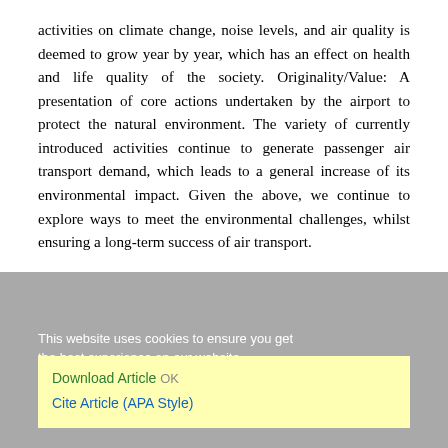activities on climate change, noise levels, and air quality is deemed to grow year by year, which has an effect on health and life quality of the society. Originality/Value: A presentation of core actions undertaken by the airport to protect the natural environment. The variety of currently introduced activities continue to generate passenger air transport demand, which leads to a general increase of its environmental impact. Given the above, we continue to explore ways to meet the environmental challenges, whilst ensuring a long-term success of air transport.
This website uses cookies to ensure you get the best experience on our website. Learn more
Download Article OK
Cite Article (APA Style)